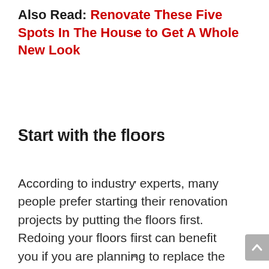Also Read: Renovate These Five Spots In The House to Get A Whole New Look
Start with the floors
According to industry experts, many people prefer starting their renovation projects by putting the floors first. Redoing your floors first can benefit you if you are planning to replace the